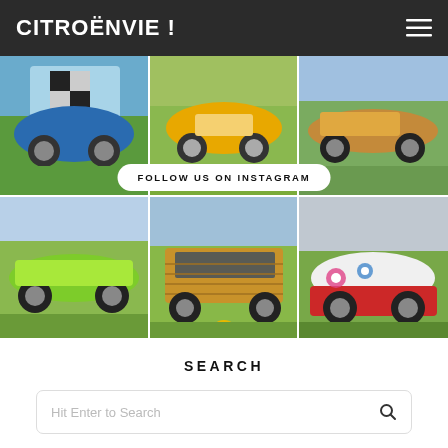CITROËNVIE !
[Figure (photo): Instagram photo grid of classic Citroën cars at a show. Top row: blue 2CV with checkered hood, yellow 2CV, orange GS/SM. Bottom row: lime green SM, wood-paneled Mehari, decorated 2CV in white/red/pink with floral decals. Overlaid 'FOLLOW US ON INSTAGRAM' button.]
SEARCH
Hit Enter to Search